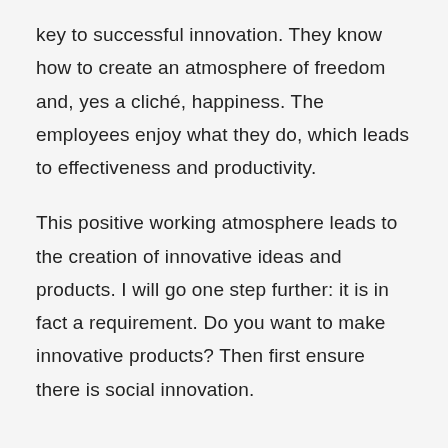key to successful innovation. They know how to create an atmosphere of freedom and, yes a cliché, happiness. The employees enjoy what they do, which leads to effectiveness and productivity.
This positive working atmosphere leads to the creation of innovative ideas and products. I will go one step further: it is in fact a requirement. Do you want to make innovative products? Then first ensure there is social innovation.